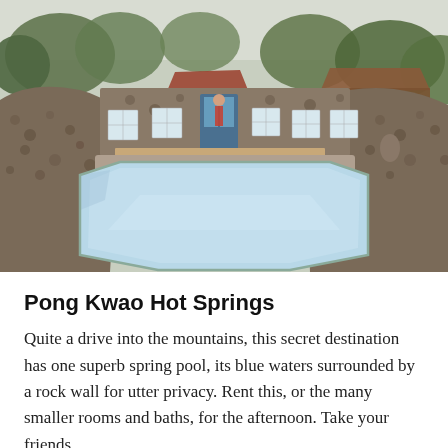[Figure (photo): Aerial-angle view of Pong Kwao Hot Springs outdoor pool: a pale blue hexagonal pool surrounded by stone cobble walls with white glass-block windows, a wooden bench along the back wall, and lush green trees and a brown-roofed building in the background.]
Pong Kwao Hot Springs
Quite a drive into the mountains, this secret destination has one superb spring pool, its blue waters surrounded by a rock wall for utter privacy. Rent this, or the many smaller rooms and baths, for the afternoon. Take your friends